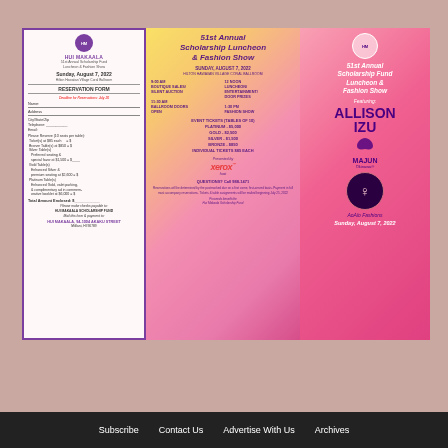[Figure (illustration): Hui Makaala 51st Annual Scholarship Fund Luncheon & Fashion Show brochure with three panels: reservation form (left), event details (center), and cover panel (right) on a floral pink/red background]
Subscribe   Contact Us   Advertise With Us   Archives